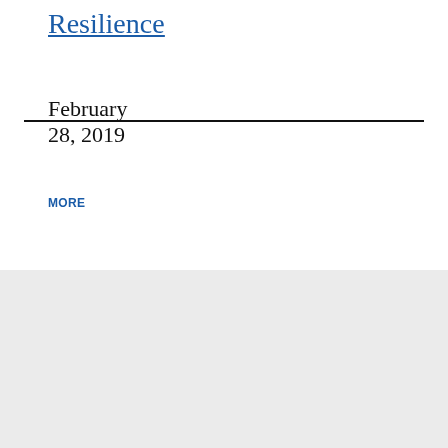Resilience
February 28, 2019
MORE
Newsletter signup
EMAIL ADDRESS
SUBMIT